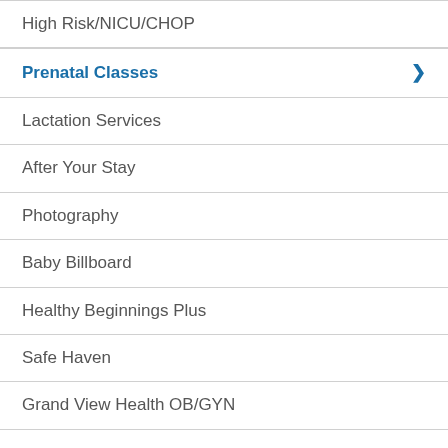High Risk/NICU/CHOP
Prenatal Classes
Lactation Services
After Your Stay
Photography
Baby Billboard
Healthy Beginnings Plus
Safe Haven
Grand View Health OB/GYN